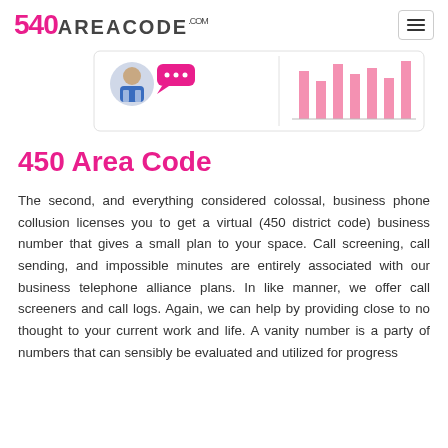540AreaCode.com
[Figure (illustration): A banner image showing a man in suit with a speech bubble icon on the left side and a bar chart visualization on the right side, representing business phone services.]
450 Area Code
The second, and everything considered colossal, business phone collusion licenses you to get a virtual (450 district code) business number that gives a small plan to your space. Call screening, call sending, and impossible minutes are entirely associated with our business telephone alliance plans. In like manner, we offer call screeners and call logs. Again, we can help by providing close to no thought to your current work and life. A vanity number is a party of numbers that can sensibly be evaluated and utilized for progress